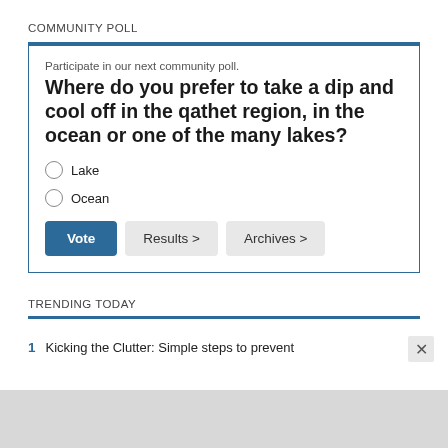COMMUNITY POLL
Participate in our next community poll.
Where do you prefer to take a dip and cool off in the qathet region, in the ocean or one of the many lakes?
Lake
Ocean
TRENDING TODAY
1  Kicking the Clutter: Simple steps to prevent